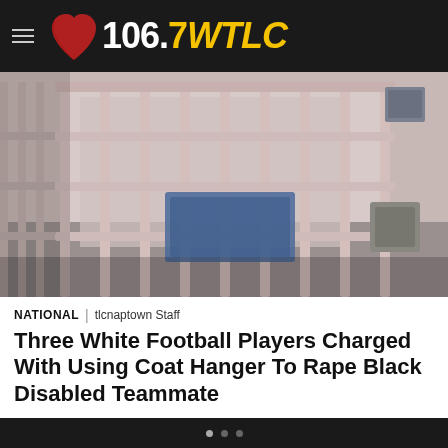[Figure (logo): 106.7 WTLC radio station logo with red heart graphic on dark header bar]
[Figure (photo): Interior photograph of a jail cell with pink/beige metal bars, a blue mattress visible inside the cell, and a toilet and small appliance in the background]
NATIONAL | tlcnaptown Staff
Three White Football Players Charged With Using Coat Hanger To Rape Black Disabled Teammate
“I screamed,” the victim testified. “I was pretty upset. I felt really bad. A little bit betrayed and confused at the same time. It was terrible — a pain I’ve never felt,” the victim said in court.